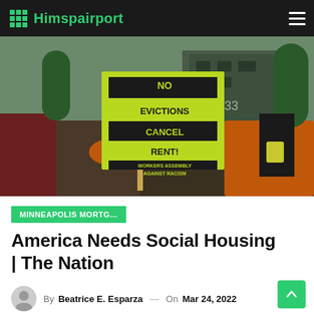Himspairport
[Figure (photo): Protest crowd outdoors holding signs including a large yellow-green sign reading 'NO EVICTIONS CANCEL RENT! WORKERS ASSEMBLY AGAINST RACISM'. People wearing masks and orange clothing visible. Building with number 633 in background.]
MINNEAPOLIS MORTG...
America Needs Social Housing | The Nation
By Beatrice E. Esparza — On Mar 24, 2022